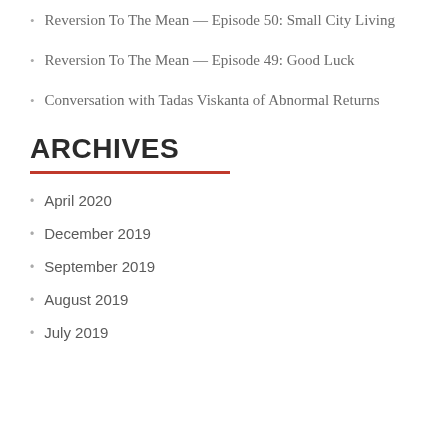Reversion To The Mean — Episode 50: Small City Living
Reversion To The Mean — Episode 49: Good Luck
Conversation with Tadas Viskanta of Abnormal Returns
ARCHIVES
April 2020
December 2019
September 2019
August 2019
July 2019